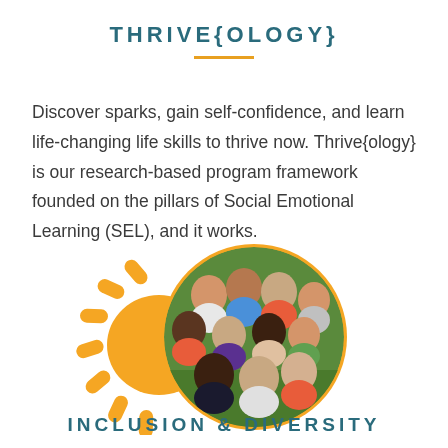THRIVE{OLOGY}
Discover sparks, gain self-confidence, and learn life-changing life skills to thrive now. Thrive{ology} is our research-based program framework founded on the pillars of Social Emotional Learning (SEL), and it works.
[Figure (photo): A circular photo of a group of diverse children sitting together on grass, smiling and looking up at the camera, surrounded by an orange decorative sun illustration with rays.]
INCLUSION & DIVERSITY